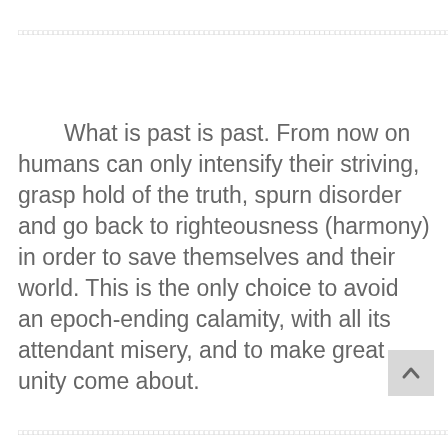□□□□□□□□□□□□□□□□□□□□□□□□□□□□□□□□□□□□□□□□□□□□□□□□□□□□□□□□□□□□□□□□□□□□□□□□□□□□□□□□□□□□□□□□□□□□□□□□□□□□□□□□□□□□□□□□□□□□□□□□□□□□□□□□□□□□□□□□□□□□□□□□□□□□□□□□□□□□□□□□
What is past is past. From now on humans can only intensify their striving, grasp hold of the truth, spurn disorder and go back to righteousness (harmony) in order to save themselves and their world. This is the only choice to avoid an epoch-ending calamity, with all its attendant misery, and to make great unity come about.
□□□□□□□□□□□□□□□□□□□□□□□□□□□□□□□□□□□□□□□□□□□□□□□□□□□□□□□□□□□□□□□□□□□□□□□□□□□□□□□□□□□□□□□□□□□□□□□□□□□□□□□□□□□□□□□□□□□□□□□□□□□□□□□□□□□